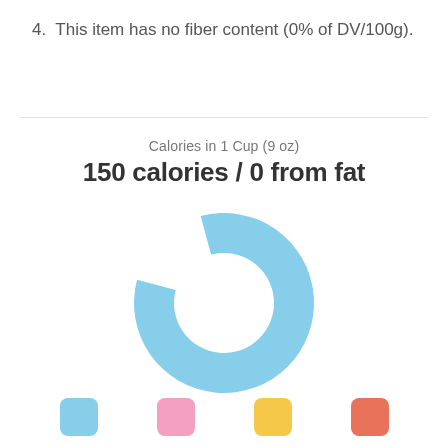4.  This item has no fiber content (0% of DV/100g).
[Figure (donut-chart): Donut chart showing calorie breakdown, primarily carbohydrates (light blue). Small gap at bottom-left. Legend shows 4 color squares: blue, pink, yellow, orange-red.]
Calories in 1 Cup (9 oz)
150 calories / 0 from fat